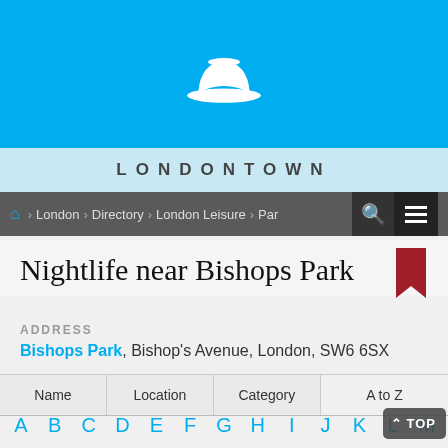[Figure (logo): LondonTown website header with bowler hat icon on blue background]
LONDONTOWN
London > Directory > London Leisure > Parks & Gardens
Nightlife near Bishops Park
ADDRESS
Bishops Park, Bishop's Avenue, London, SW6 6SX
| Name | Location | Category | A to Z |
| --- | --- | --- | --- |
A B C D E F G H I J K L M
N O P Q R S T U V W X Y Z